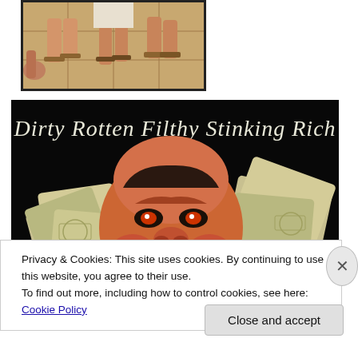[Figure (photo): Partial view of people's feet and sandals on stone or tile floor, classical/biblical style setting]
[Figure (illustration): Illustration titled 'Dirty Rotten Filthy Stinking Rich' showing a caricature of a greedy figure surrounded by piles of money/dollar bills, dark background with cursive text at top]
Privacy & Cookies: This site uses cookies. By continuing to use this website, you agree to their use.
To find out more, including how to control cookies, see here: Cookie Policy
Close and accept